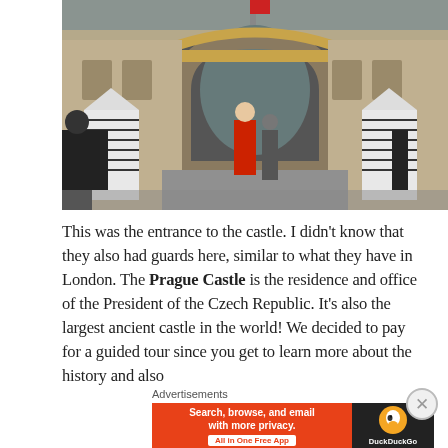[Figure (photo): Entrance gate to Prague Castle with ornate golden arch, guard booths with chevron patterns on sides, tourists walking through the gate, overcast sky]
This was the entrance to the castle. I didn't know that they also had guards here, similar to what they have in London. The Prague Castle is the residence and office of the President of the Czech Republic. It's also the largest ancient castle in the world! We decided to pay for a guided tour since you get to learn more about the history and also
Advertisements
[Figure (screenshot): DuckDuckGo advertisement banner: orange left panel with text 'Search, browse, and email with more privacy. All in One Free App', black right panel with DuckDuckGo logo duck icon and brand name]